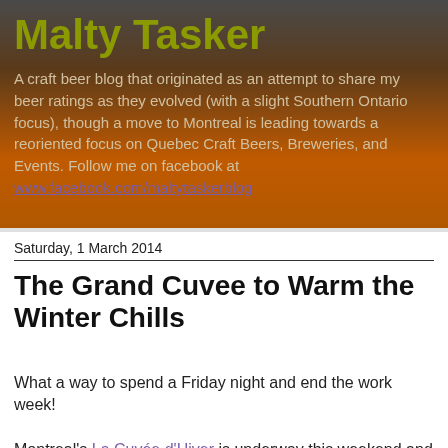Malty Tasker
A craft beer blog that originated as an attempt to share my beer ratings as they evolved (with a slight Southern Ontario focus), though a move to Montreal is leading towards a reoriented focus on Quebec Craft Beers, Breweries, and Events. Follow me on facebook at www.facebook.com/maltytaskerblog
Saturday, 1 March 2014
The Grand Cuvee to Warm the Winter Chills
What a way to spend a Friday night and end the work week!

Montreal's La Cuvée d'Hiver is underway this weekend and shouldn't be missed by beer geeks, beer fans, and fans of a good time alike!  So plan your Saturday night here and, since it's nuit blanche, the bars of Cuvee are open until 2am